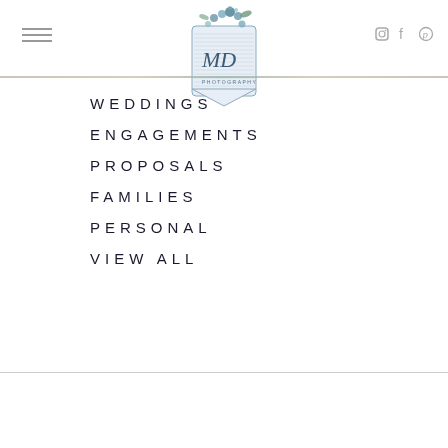MD Photography navigation header with logo, hamburger menu, and social icons
[Figure (logo): MD Photography logo: shield/badge shape with blue hydrangea flowers at top, cursive MD initials in center, 'photography' text below, in blue/teal tones]
WEDDINGS
ENGAGEMENTS
PROPOSALS
FAMILIES
PERSONAL
VIEW ALL